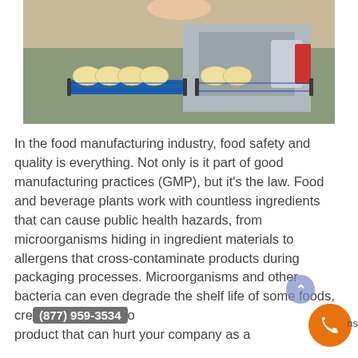[Figure (photo): Food manufacturing conveyor belt with rows of dough/pastry pieces moving through slicing or processing machine in a factory setting.]
In the food manufacturing industry, food safety and quality is everything. Not only is it part of good manufacturing practices (GMP), but it’s the law. Food and beverage plants work with countless ingredients that can cause public health hazards, from microorganisms hiding in ingredient materials to allergens that cross-contaminate products during packaging processes. Microorganisms and other bacteria can even degrade the shelf life of some foods, cre[ating an inferior ]o[r] product that can hurt your company as a